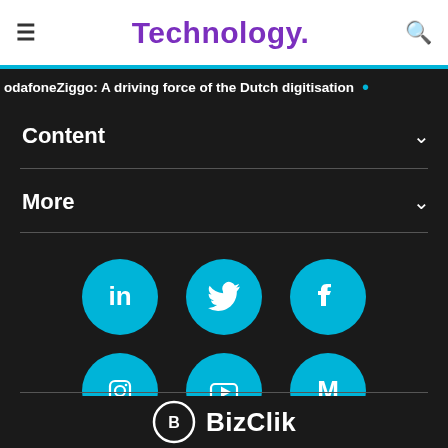Technology.
odafoneZiggo: A driving force of the Dutch digitisation
Content
More
[Figure (illustration): Six circular social media icons in cyan/blue on dark background: LinkedIn, Twitter, Facebook (top row), Instagram, YouTube, Medium (bottom row)]
[Figure (logo): BizClik logo with circular icon and text 'BizClik']